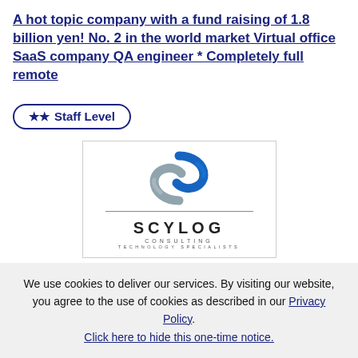A hot topic company with a fund raising of 1.8 billion yen! No. 2 in the world market Virtual office SaaS company QA engineer * Completely full remote
★★ Staff Level
[Figure (logo): SCYLOG Consulting Technology Specialists logo with stylized S mark in blue and silver]
Recruiter
SCYLOG Co., Ltd.
We use cookies to deliver our services. By visiting our website, you agree to the use of cookies as described in our Privacy Policy. Click here to hide this one-time notice.